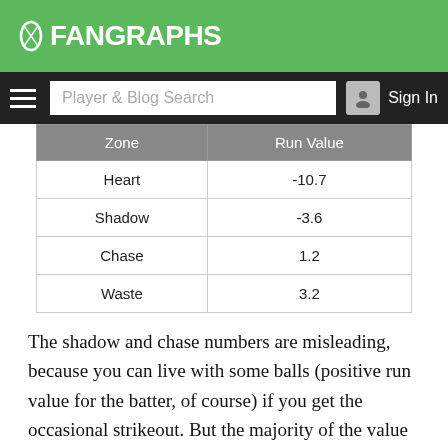FANGRAPHS
| Zone | Run Value |
| --- | --- |
| Heart | -10.7 |
| Shadow | -3.6 |
| Chase | 1.2 |
| Waste | 3.2 |
The shadow and chase numbers are misleading, because you can live with some balls (positive run value for the batter, of course) if you get the occasional strikeout. But the majority of the value comes from throwing a slow pitch right down the middle. It’s wild!